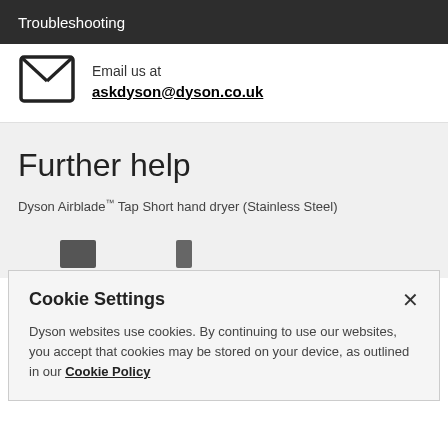Troubleshooting
Email us at
askdyson@dyson.co.uk
Further help
Dyson Airblade™ Tap Short hand dryer (Stainless Steel)
[Figure (screenshot): Partial view of product thumbnails at bottom of further help section]
Cookie Settings
Dyson websites use cookies. By continuing to use our websites, you accept that cookies may be stored on your device, as outlined in our Cookie Policy